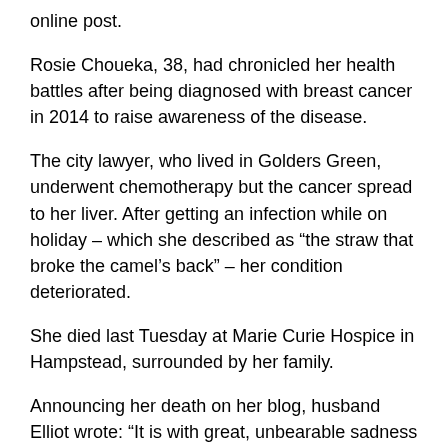online post.
Rosie Choueka, 38, had chronicled her health battles after being diagnosed with breast cancer in 2014 to raise awareness of the disease.
The city lawyer, who lived in Golders Green, underwent chemotherapy but the cancer spread to her liver. After getting an infection while on holiday – which she described as “the straw that broke the camel’s back” – her condition deteriorated.
She died last Tuesday at Marie Curie Hospice in Hampstead, surrounded by her family.
Announcing her death on her blog, husband Elliot wrote: “It is with great, unbearable sadness that I announce the passing away of Rosie Sara Choueka (nee Kalman) at 8.30am. She was a great woman,